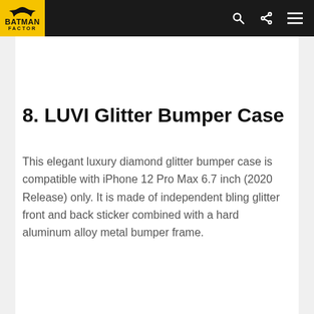BATMAN FACTOR
8. LUVI Glitter Bumper Case
This elegant luxury diamond glitter bumper case is compatible with iPhone 12 Pro Max 6.7 inch (2020 Release) only. It is made of independent bling glitter front and back sticker combined with a hard aluminum alloy metal bumper frame.